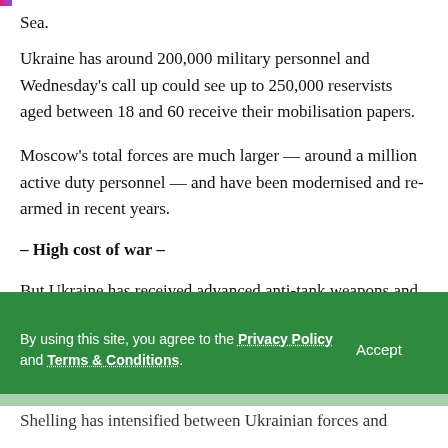Sea.
Ukraine has around 200,000 military personnel and Wednesday's call up could see up to 250,000 reservists aged between 18 and 60 receive their mobilisation papers.
Moscow's total forces are much larger — around a million active duty personnel — and have been modernised and re-armed in recent years.
– High cost of war –
But Ukraine has received advanced anti-tank weapons and some drones from NATO members. More have been promised as the allies try to deter a Russian attack or at least
By using this site, you agree to the Privacy Policy and Terms & Conditions.
Shelling has intensified between Ukrainian forces and